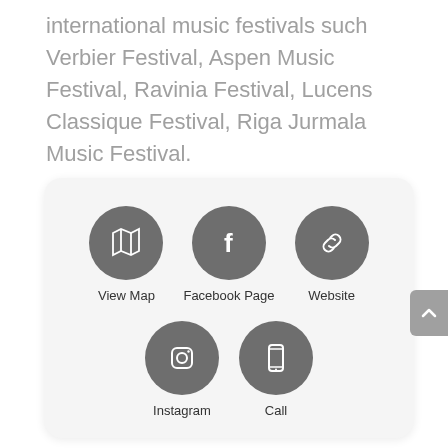international music festivals such Verbier Festival, Aspen Music Festival, Ravinia Festival, Lucens Classique Festival, Riga Jurmala Music Festival.
[Figure (infographic): A card with five circular icon buttons arranged in two rows: Row 1: View Map (map icon), Facebook Page (f icon), Website (link icon). Row 2: Instagram (camera icon), Call (phone icon). Each icon is a dark gray circle with white symbol, and labeled below.]